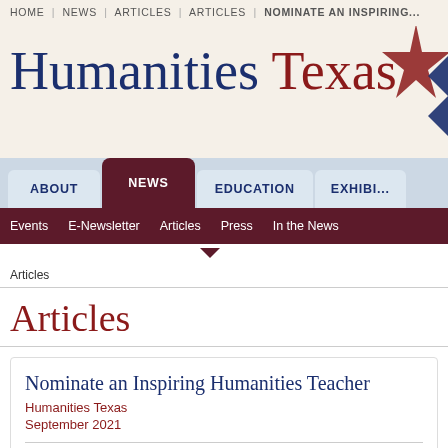HOME | NEWS | ARTICLES | ARTICLES | NOMINATE AN INSPIRING...
Humanities Texas
ABOUT | NEWS | EDUCATION | EXHIBI...
Events | E-Newsletter | Articles | Press | In the News
Articles
Articles
Nominate an Inspiring Humanities Teacher
Humanities Texas
September 2021